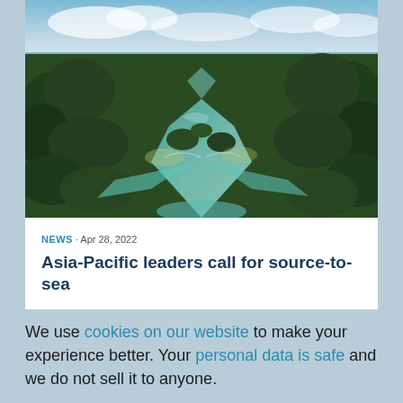[Figure (photo): Aerial photograph of a tropical river delta or estuary with dense green forest canopy, turquoise/teal water channels flowing toward the ocean, and a cloudy sky visible in the upper portion.]
NEWS · Apr 28, 2022
Asia-Pacific leaders call for source-to-sea
We use cookies on our website to make your experience better. Your personal data is safe and we do not sell it to anyone.
Accept cookies   Decline